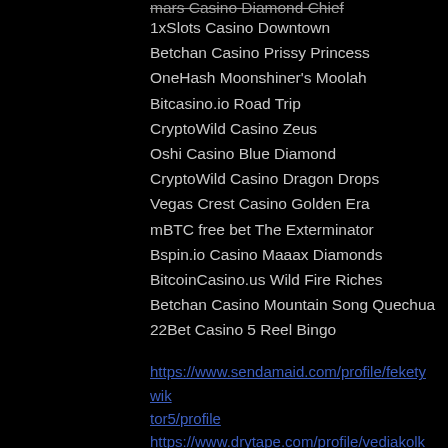mars Casino Diamond Chief
1xSlots Casino Downtown
Betchan Casino Prissy Princess
OneHash Moonshiner's Moolah
Bitcasino.io Road Trip
CryptoWild Casino Zeus
Oshi Casino Blue Diamond
CryptoWild Casino Dragon Drops
Vegas Crest Casino Golden Era
mBTC free bet The Exterminator
Bspin.io Casino Maaax Diamonds
BitcoinCasino.us Wild Fire Riches
Betchan Casino Mountain Song Quechua
22Bet Casino 5 Reel Bingo
https://www.sendamaid.com/profile/feketywik tor5/profile
https://www.drytape.com/profile/vediakolkz/p rofile
https://www.thedrunkenlibertarian.com/profile /skrochmangums/profile
https://www.stageandtidyco.com/profile/ordal